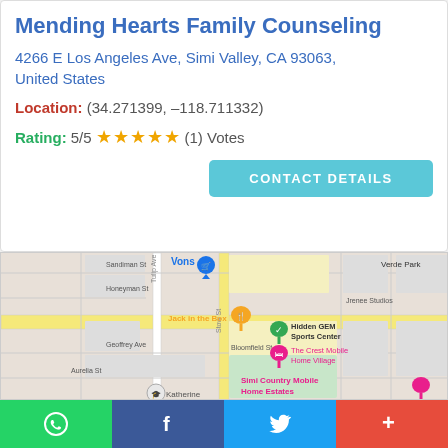Mending Hearts Family Counseling
4266 E Los Angeles Ave, Simi Valley, CA 93063, United States
Location: (34.271399, -118.711332)
Rating: 5/5 ★★★★★ (1) Votes
CONTACT DETAILS
[Figure (map): Google Maps view showing Simi Valley neighborhood with streets including Sandiman St, Honeyman St, Geoffrey Ave, Aurelia St, Bloomfield St, Tulip Ave, Stow St. Nearby landmarks include Vons, Jack in the Box, Hidden GEM Sports Center, The Crest Mobile Home Village, Simi Country Mobile Home Estates, Jrenee Studios, Verde Park, Katherine (school).]
WhatsApp | Facebook | Twitter | More